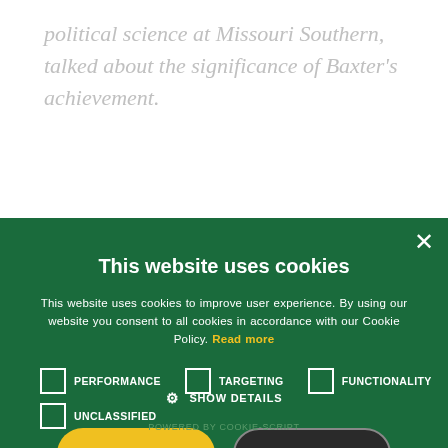political science at Missouri Southern, talked about the significance of Baxter's achievement.
This website uses cookies
This website uses cookies to improve user experience. By using our website you consent to all cookies in accordance with our Cookie Policy. Read more
PERFORMANCE  TARGETING  FUNCTIONALITY
UNCLASSIFIED
ACCEPT ALL  DECLINE ALL
SHOW DETAILS
POWERED BY COOKIE-SCRIPT